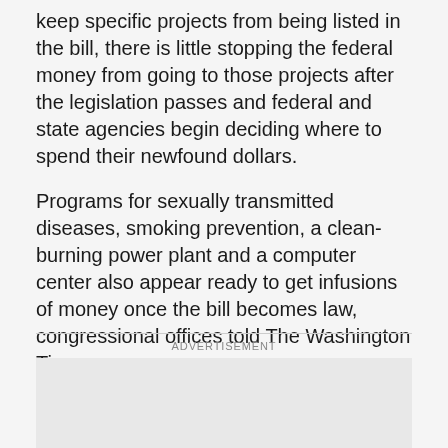keep specific projects from being listed in the bill, there is little stopping the federal money from going to those projects after the legislation passes and federal and state agencies begin deciding where to spend their newfound dollars.
Programs for sexually transmitted diseases, smoking prevention, a clean-burning power plant and a computer center also appear ready to get infusions of money once the bill becomes law, congressional offices told The Washington Times.
ADVERTISEMENT